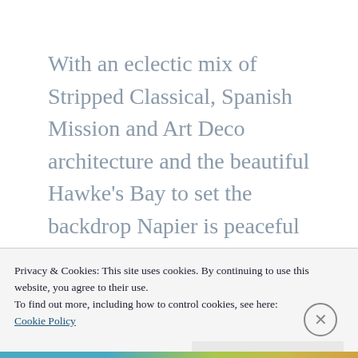With an eclectic mix of Stripped Classical, Spanish Mission and Art Deco architecture and the beautiful Hawke's Bay to set the backdrop Napier is peaceful retreat. The downtown area was reconstructed in Art Deco style after the devastating earthquake of 1931. Art Deco tour in the city is one of the popular things to do in
Privacy & Cookies: This site uses cookies. By continuing to use this website, you agree to their use.
To find out more, including how to control cookies, see here:
Cookie Policy
Close and accept